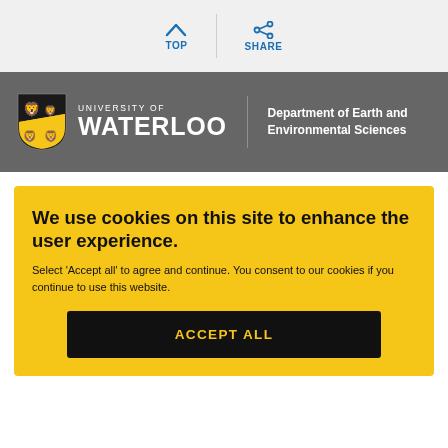TOP | SHARE
[Figure (logo): University of Waterloo logo with shield crest and Department of Earth and Environmental Sciences label]
We use cookies on this site to enhance the user experience.
Select 'Accept all' to agree and continue. You consent to our cookies if you continue to use this website.
ACCEPT ALL